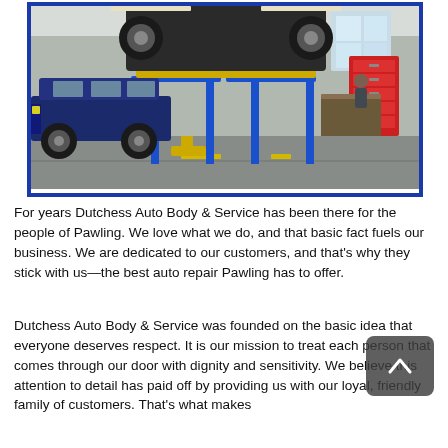[Figure (photo): Photo of an auto repair shop interior showing a car lifted on a blue hydraulic lift, with another SUV parked nearby. Red tool cabinets and workshop equipment visible in the background.]
For years Dutchess Auto Body & Service has been there for the people of Pawling. We love what we do, and that basic fact fuels our business. We are dedicated to our customers, and that's why they stick with us—the best auto repair Pawling has to offer.
Dutchess Auto Body & Service was founded on the basic idea that everyone deserves respect. It is our mission to treat each person that comes through our door with dignity and sensitivity. We believe this attention to detail has paid off by providing us with our loyal, friendly family of customers. That's what makes